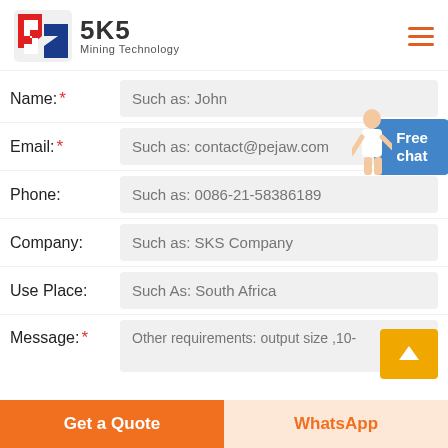[Figure (logo): SKS Mining Technology logo with stylized S icon in red and blue, company name SKS in bold, subtitle Mining Technology]
Name: *  Such as: John
Email: *  Such as: contact@pejaw.com
Phone:  Such as: 0086-21-58386189
Company:  Such as: SKS Company
Use Place:  Such As: South Africa
Message: *  Other requirements: output size ,10-
Get a Quote
WhatsApp